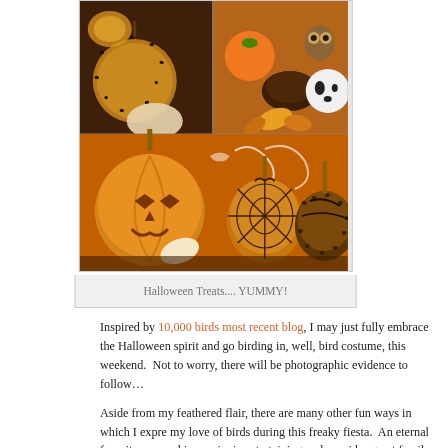[Figure (photo): Collage of Halloween-themed candy and caramel apple treats including pumpkin-shaped caramel apples, chocolate covered treats, ghost and owl figurines, and spiderweb decorated apples on sticks]
Halloween Treats.... YUMMY!
Inspired by 10,000 birds most recent blog, I may just fully embrace the Halloween spirit and go birding in, well, bird costume, this weekend.  Not to worry, there will be photographic evidence to follow…
Aside from my feathered flair, there are many other fun ways in which I expre my love of birds during this freaky fiesta.  An eternal favorite – pumpkin carvi – is entertaining and provides great family fun, too! After all, bird themed pumpkin carving is an annual event at our house.